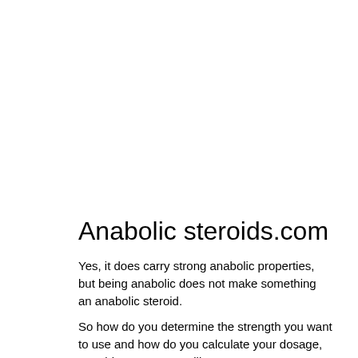Anabolic steroids.com
Yes, it does carry strong anabolic properties, but being anabolic does not make something an anabolic steroid.
So how do you determine the strength you want to use and how do you calculate your dosage, steroid testosterone pills?